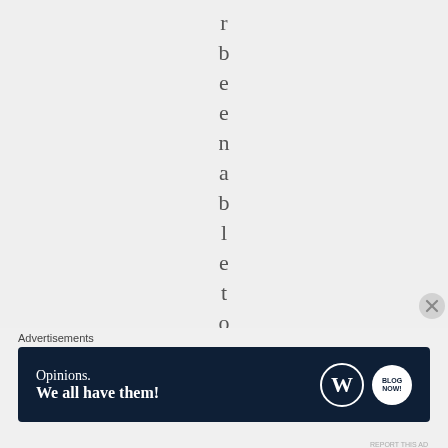r b e e n a b l e t o f i
Advertisements
[Figure (other): Advertisement banner: dark navy background with text 'Opinions. We all have them!' and WordPress logo and a circular button logo on the right]